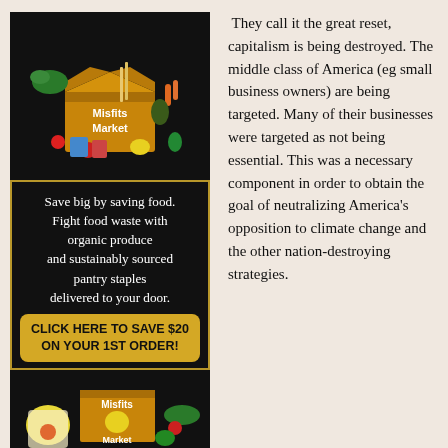[Figure (photo): Misfits Market advertisement showing a grocery delivery box with produce and pantry items on black background. Text reads: Save big by saving food. Fight food waste with organic produce and sustainably sourced pantry staples delivered to your door. CLICK HERE TO SAVE $20 ON YOUR 1ST ORDER! Bottom shows another Misfits Market branded box image.]
They call it the great reset, capitalism is being destroyed. The middle class of America (eg small business owners) are being targeted. Many of their businesses were targeted as not being essential. This was a necessary component in order to obtain the goal of neutralizing America's opposition to climate change and the other nation-destroying strategies.